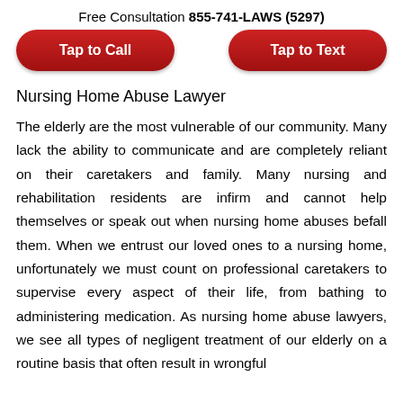Free Consultation 855-741-LAWS (5297)
[Figure (other): Two red rounded rectangle buttons: 'Tap to Call' on the left and 'Tap to Text' on the right]
Nursing Home Abuse Lawyer
The elderly are the most vulnerable of our community. Many lack the ability to communicate and are completely reliant on their caretakers and family. Many nursing and rehabilitation residents are infirm and cannot help themselves or speak out when nursing home abuses befall them. When we entrust our loved ones to a nursing home, unfortunately we must count on professional caretakers to supervise every aspect of their life, from bathing to administering medication. As nursing home abuse lawyers, we see all types of negligent treatment of our elderly on a routine basis that often result in wrongful